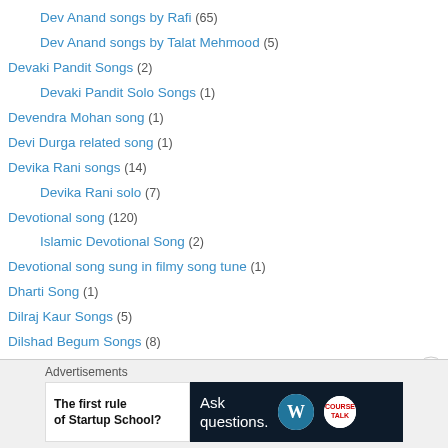Dev Anand songs by Rafi (65)
Dev Anand songs by Talat Mehmood (5)
Devaki Pandit Songs (2)
Devaki Pandit Solo Songs (1)
Devendra Mohan song (1)
Devi Durga related song (1)
Devika Rani songs (14)
Devika Rani solo (7)
Devotional song (120)
Islamic Devotional Song (2)
Devotional song sung in filmy song tune (1)
Dharti Song (1)
Dilraj Kaur Songs (5)
Dilshad Begum Songs (8)
Dishad Begum Solo Songs (5)
Discussion of Railways related matters (2)
Advertisements
[Figure (screenshot): Advertisement banner: 'The first rule of Startup School?' with WordPress and Course Ask logos on dark background]